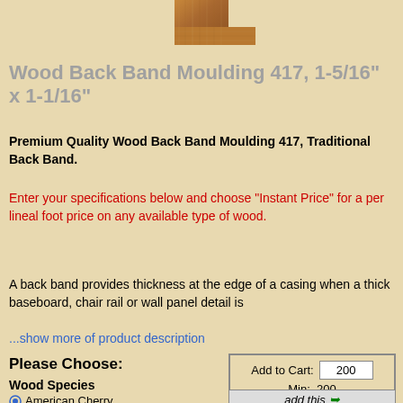[Figure (photo): Wood cross-section profile image of back band moulding, showing brown wood grain texture in an L-shape cross section]
Wood Back Band Moulding 417, 1-5/16" x 1-1/16"
Premium Quality Wood Back Band Moulding 417, Traditional Back Band.
Enter your specifications below and choose "Instant Price" for a per lineal foot price on any available type of wood.
A back band provides thickness at the edge of a casing when a thick baseboard, chair rail or wall panel detail is
...show more of product description
Please Choose:
Wood Species
American Cherry
| Add to Cart: | 200 |
| --- | --- |
| Min: | 200 |
| add this |  |